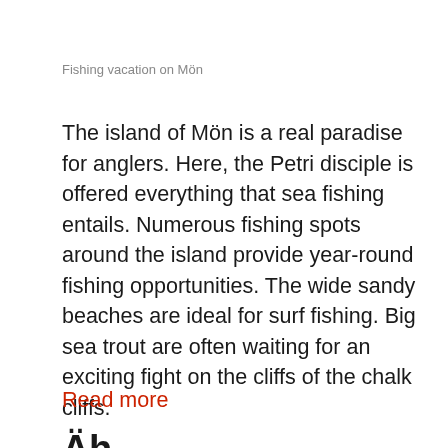Fishing vacation on Mön
The island of Mön is a real paradise for anglers. Here, the Petri disciple is offered everything that sea fishing entails. Numerous fishing spots around the island provide year-round fishing opportunities. The wide sandy beaches are ideal for surf fishing. Big sea trout are often waiting for an exciting fight on the cliffs of the chalk cliffs.
Read more
Äh...